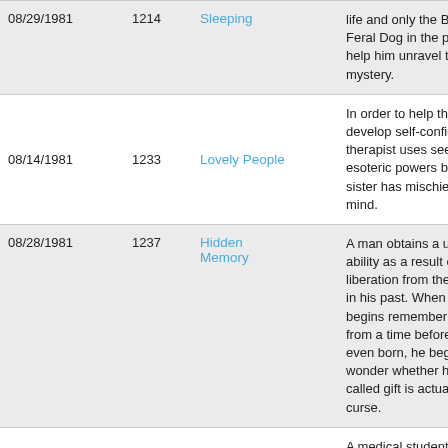| Date | ID | Title | Description |
| --- | --- | --- | --- |
| 08/29/1981 | 1214 | Sleeping | life and only the Black Feral Dog in the park can help him unravel the mystery. |
| 08/14/1981 | 1233 | Lovely People | In order to help them develop self-confidence, a therapist uses seemingly esoteric powers but her sister has mischief on her mind. |
| 08/28/1981 | 1237 | Hidden Memory | A man obtains a unique ability as a result of his liberation from the ghosts in his past. When he begins remembering things from a time before he was even born, he begins to wonder whether his so-called gift is actually a curse. |
|  |  |  | A medical student requests to be allowed to treat a young girl in |